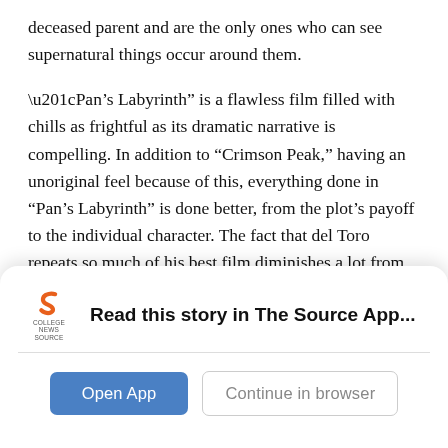deceased parent and are the only ones who can see supernatural things occur around them.
“Pan’s Labyrinth” is a flawless film filled with chills as frightful as its dramatic narrative is compelling. In addition to “Crimson Peak,” having an unoriginal feel because of this, everything done in “Pan’s Labyrinth” is done better, from the plot’s payoff to the individual character. The fact that del Toro repeats so much of his best film diminishes a lot from it, which is a shame because there is a lot to its romantic nature that could have given it a unique feel.
There is way too much unnecessary set-up before
[Figure (logo): College News Source logo — orange stylized 'S' mark above small text reading 'COLLEGE NEWS SOURCE']
Read this story in The Source App...
Open App
Continue in browser